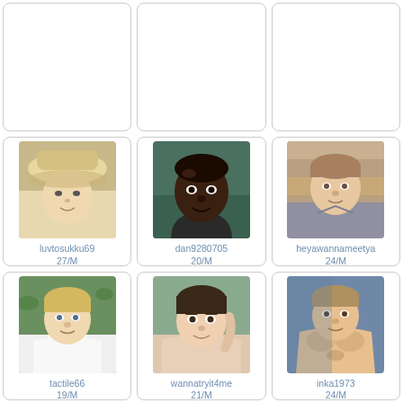[Figure (photo): Empty card top-left]
[Figure (photo): Empty card top-center]
[Figure (photo): Empty card top-right]
[Figure (photo): Profile photo of luvtosukku69, man wearing hat]
luvtosukku69
27/M
Takefu, Fukui
[Figure (photo): Profile photo of dan9280705, Black man]
dan9280705
20/M
Takefu, Fukui
[Figure (photo): Profile photo of heyawannameetya, man in gray shirt]
heyawannameetya
24/M
Takefu, Fukui
[Figure (photo): Profile photo of tactile66, blond man in white tank]
tactile66
19/M
Tsuruga, Fukui
[Figure (photo): Profile photo of wannatryit4me, young man]
wannatryit4me
21/M
Takefu, Fukui
[Figure (photo): Profile photo of inka1973, shirtless man]
inka1973
24/M
Tsuruga, Fukui